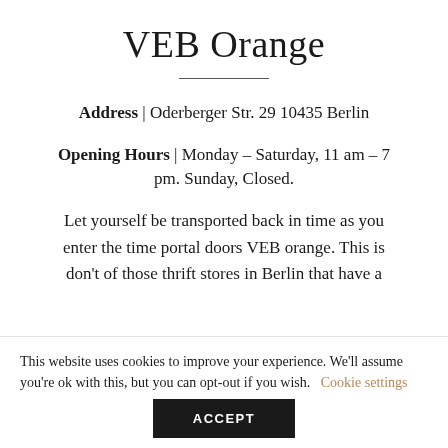VEB Orange
Address | Oderberger Str. 29 10435 Berlin
Opening Hours | Monday – Saturday, 11 am – 7 pm. Sunday, Closed.
Let yourself be transported back in time as you enter the time portal doors VEB orange. This is don't of those thrift stores in Berlin that have a
This website uses cookies to improve your experience. We'll assume you're ok with this, but you can opt-out if you wish. Cookie settings ACCEPT